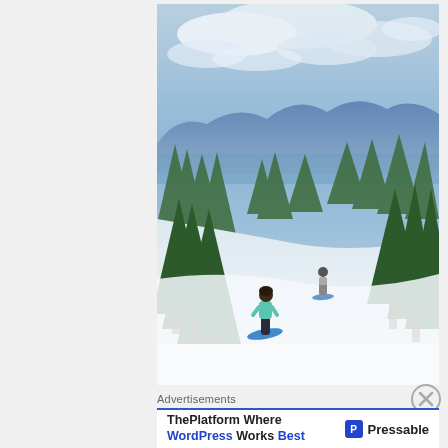[Figure (photo): Two snowboarders on a snowy ski slope surrounded by tall green pine/spruce trees, with a mountain valley and cloudy blue sky visible in the background. One snowboarder in the foreground wears a teal jacket and dark pants, the other is further up the slope in a gray outfit.]
Advertisements
ThePlatform Where WordPress Works Best    P Pressable